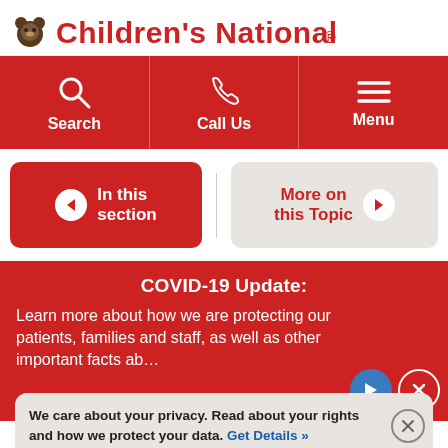[Figure (logo): Children's National hospital logo with bear mascot and red text]
Search | Call Us | Menu
In this section
More on this Topic
COVID-19 Update:
Learn more about how we are protecting our patients, families and staff, as well as other important facts about COVID...
We care about your privacy. Read about your rights and how we protect your data. Get Details »
Focus on Biomarkers to